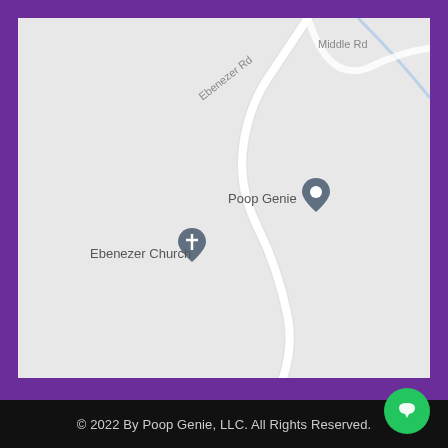[Figure (map): Google Maps screenshot showing Ebenezer Rd, Middle Rd, with location pins for 'Poop Genie' and 'Ebenezer Church' on a light gray map background.]
© 2022 By Poop Genie, LLC. All Rights Reserved.